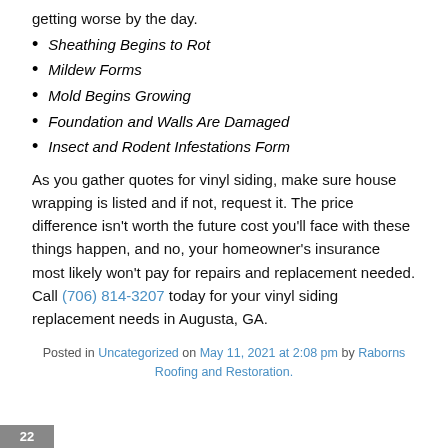getting worse by the day.
Sheathing Begins to Rot
Mildew Forms
Mold Begins Growing
Foundation and Walls Are Damaged
Insect and Rodent Infestations Form
As you gather quotes for vinyl siding, make sure house wrapping is listed and if not, request it. The price difference isn't worth the future cost you'll face with these things happen, and no, your homeowner's insurance most likely won't pay for repairs and replacement needed. Call (706) 814-3207 today for your vinyl siding replacement needs in Augusta, GA.
Posted in Uncategorized on May 11, 2021 at 2:08 pm by Raborns Roofing and Restoration.
22